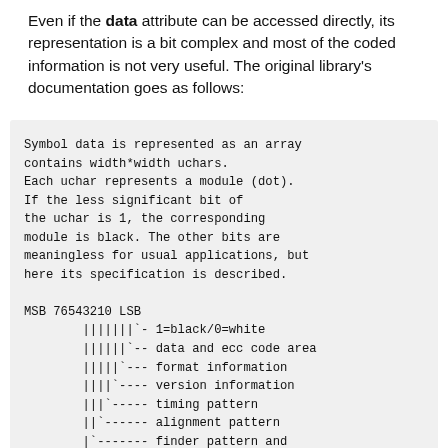Even if the data attribute can be accessed directly, its representation is a bit complex and most of the coded information is not very useful. The original library's documentation goes as follows:
Symbol data is represented as an array
contains width*width uchars.
Each uchar represents a module (dot).
If the less significant bit of
the uchar is 1, the corresponding
module is black. The other bits are
meaningless for usual applications, but
here its specification is described.

MSB 76543210 LSB
        |||||||`- 1=black/0=white
        ||||||`-- data and ecc code area
        |||||`--- format information
        ||||`---- version information
        |||`----- timing pattern
        ||`------ alignment pattern
        |`------- finder pattern and
separator